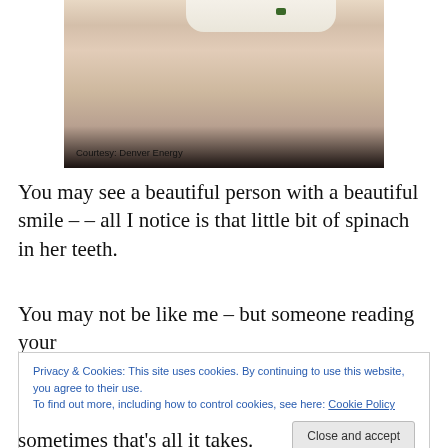[Figure (photo): Close-up photo of a person smiling with spinach visible in their teeth. Caption reads: Courtesy: Denver Energy]
Courtesy: Denver Energy
You may see a beautiful person with a beautiful smile – – all I notice is that little bit of spinach in her teeth.
You may not be like me – but someone reading your
Privacy & Cookies: This site uses cookies. By continuing to use this website, you agree to their use.
To find out more, including how to control cookies, see here: Cookie Policy
sometimes that's all it takes.